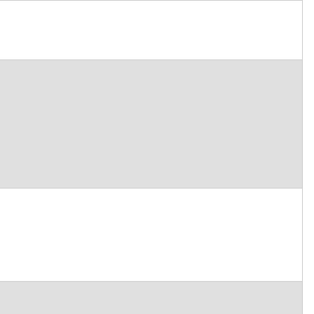| Code | Date/Time | Title |
| --- | --- | --- |
| C11001 | July 23rd 10:00 am | Introduction
Log in to add this |
| C11002 | July 23rd 10:15 am | Chromosomal e...
Log in to add this |
| C11003 | July 23rd 10:30 am | All around centr... repeat-based h...
Log in to add this |
| C11004 | July 23rd 10:45 am | Integrating Baye... chromosome ev...
Log in to add this |
| C11005 | July 23rd 11:00 am | Ploidal variation... understanding s... evolutionary his...
Log in to add this |
| C11006 | July 23rd 11:15 am | Evolutionary Dy... |